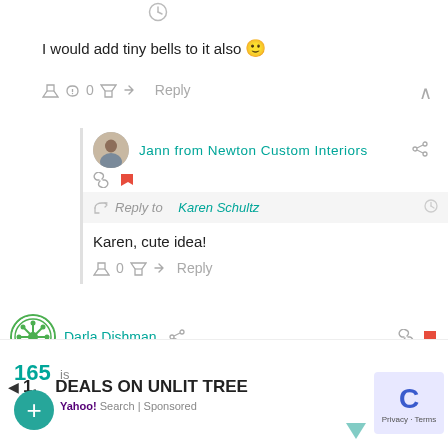[Figure (screenshot): Clock icon at top]
I would add tiny bells to it also 🙂
👍 0 👎 ↩ Reply ∧
Jann from Newton Custom Interiors
Reply to Karen Schultz
Karen, cute idea!
👍 0 👎 ↩ Reply
Darla Dishman
Search for
165
1.   DEALS ON UNLIT TREE
Yahoo! Search | Sponsored